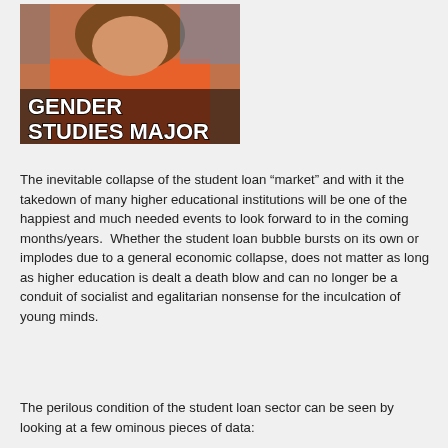[Figure (illustration): A meme image showing a person with curly hair wearing an orange shirt, with bold white text reading 'GENDER STUDIES MAJOR']
The inevitable collapse of the student loan “market” and with it the takedown of many higher educational institutions will be one of the happiest and much needed events to look forward to in the coming months/years.  Whether the student loan bubble bursts on its own or implodes due to a general economic collapse, does not matter as long as higher education is dealt a death blow and can no longer be a conduit of socialist and egalitarian nonsense for the inculcation of young minds.
The perilous condition of the student loan sector can be seen by looking at a few ominous pieces of data: